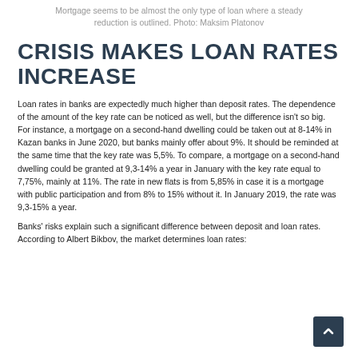Mortgage seems to be almost the only type of loan where a steady reduction is outlined. Photo: Maksim Platonov
CRISIS MAKES LOAN RATES INCREASE
Loan rates in banks are expectedly much higher than deposit rates. The dependence of the amount of the key rate can be noticed as well, but the difference isn't so big. For instance, a mortgage on a second-hand dwelling could be taken out at 8-14% in Kazan banks in June 2020, but banks mainly offer about 9%. It should be reminded at the same time that the key rate was 5,5%. To compare, a mortgage on a second-hand dwelling could be granted at 9,3-14% a year in January with the key rate equal to 7,75%, mainly at 11%. The rate in new flats is from 5,85% in case it is a mortgage with public participation and from 8% to 15% without it. In January 2019, the rate was 9,3-15% a year.
Banks' risks explain such a significant difference between deposit and loan rates. According to Albert Bikbov, the market determines loan rates: